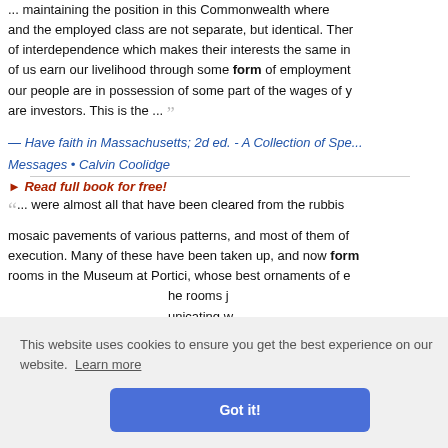... maintaining the position in this Commonwealth where ... and the employed class are not separate, but identical. There of interdependence which makes their interests the same in ... of us earn our livelihood through some form of employment. our people are in possession of some part of the wages of y... are investors. This is the ...
— Have faith in Massachusetts; 2d ed. - A Collection of Spe... Messages • Calvin Coolidge
▸ Read full book for free!
... were almost all that have been cleared from the rubbis... mosaic pavements of various patterns, and most of them of... execution. Many of these have been taken up, and now form... rooms in the Museum at Portici, whose best ornaments of e... he rooms j... unicating w... office ...
...liam Beckt...
... this French publication at last aroused Sir George Airy...
[Figure (screenshot): Cookie consent banner with text 'This website uses cookies to ensure you get the best experience on our website. Learn more' and a blue 'Got it!' button]